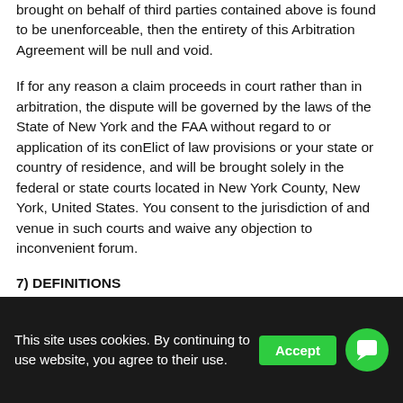brought on behalf of third parties contained above is found to be unenforceable, then the entirety of this Arbitration Agreement will be null and void.
If for any reason a claim proceeds in court rather than in arbitration, the dispute will be governed by the laws of the State of New York and the FAA without regard to or application of its conElict of law provisions or your state or country of residence, and will be brought solely in the federal or state courts located in New York County, New York, United States. You consent to the jurisdiction of and venue in such courts and waive any objection to inconvenient forum.
7) DEFINITIONS
This site uses cookies. By continuing to use website, you agree to their use.